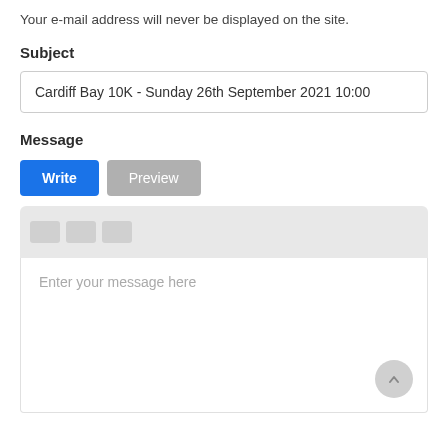Your e-mail address will never be displayed on the site.
Subject
Cardiff Bay 10K - Sunday 26th September 2021 10:00
Message
Write  Preview
Enter your message here